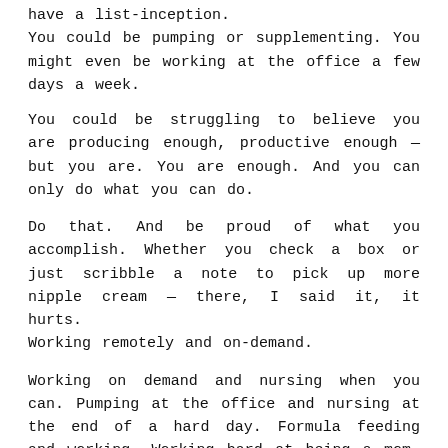have a list-inception.
You could be pumping or supplementing. You might even be working at the office a few days a week.
You could be struggling to believe you are producing enough, productive enough — but you are. You are enough. And you can only do what you can do.
Do that. And be proud of what you accomplish. Whether you check a box or just scribble a note to pick up more nipple cream — there, I said it, it hurts.
Working remotely and on-demand.
Working on demand and nursing when you can. Pumping at the office and nursing at the end of a hard day. Formula feeding and working. Working hard at being a mom. You're doing it. And that's amazing.
Posted in awareness, health and wellness and tagged breastfeeding tips, tips for breastfeeding, working moms, working remote
The Doula from a small list about the …